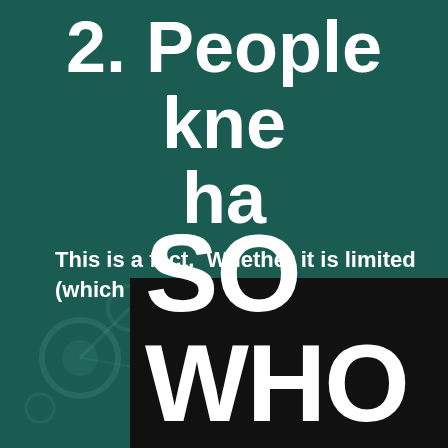2. People kne... ha...
This is a fact. Whether it is limited (which is unlikely), it is a FACT that the
SO WHO